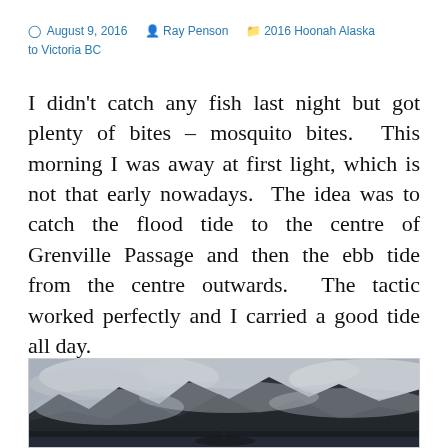August 9, 2016  Ray Penson  2016 Hoonah Alaska to Victoria BC
I didn't catch any fish last night but got plenty of bites – mosquito bites. This morning I was away at first light, which is not that early nowadays. The idea was to catch the flood tide to the centre of Grenville Passage and then the ebb tide from the centre outwards. The tactic worked perfectly and I carried a good tide all day.
[Figure (photo): Mountainous landscape with low clouds and mist, dark rocky peaks, overcast sky, boat visible at bottom]